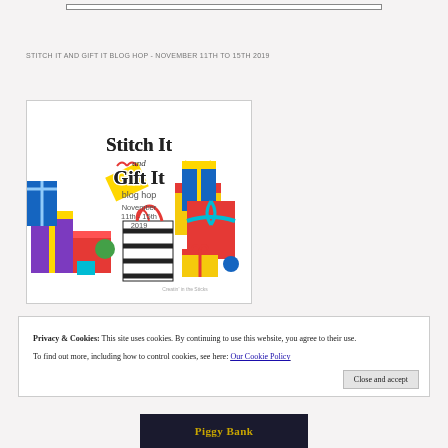STITCH IT AND GIFT IT BLOG HOP - NOVEMBER 11TH TO 15TH 2019
[Figure (illustration): Stitch It and Gift It blog hop promotional image with colorful gift boxes and text saying 'Stitch It and Gift It blog hop November 11th - 15th 2019', created by Creatin' in the Sticks]
Privacy & Cookies: This site uses cookies. By continuing to use this website, you agree to their use. To find out more, including how to control cookies, see here: Our Cookie Policy
Close and accept
Piggy Bank